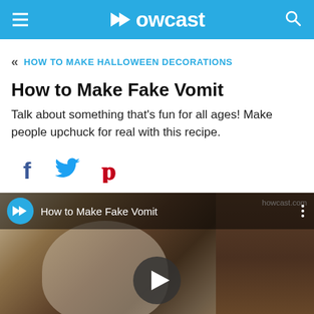Howcast
HOW TO MAKE HALLOWEEN DECORATIONS
How to Make Fake Vomit
Talk about something that's fun for all ages! Make people upchuck for real with this recipe.
[Figure (screenshot): Social sharing icons: Facebook (f), Twitter bird, Pinterest (P) icons]
[Figure (screenshot): Video thumbnail showing a person in a kitchen with Howcast logo overlay and play button. Title: How to Make Fake Vomit. Watermark: howcast.com]